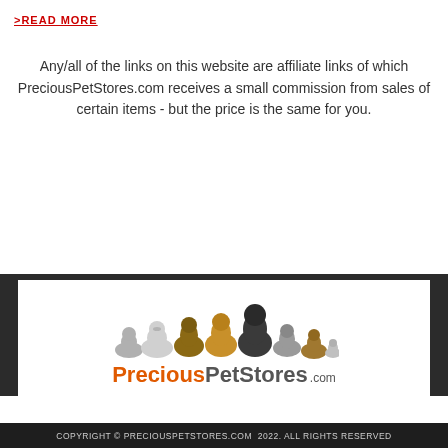>READ MORE
Any/all of the links on this website are affiliate links of which PreciousPetStores.com receives a small commission from sales of certain items - but the price is the same for you.
[Figure (logo): PreciousPetStores.com logo with illustration of multiple dogs and cats, text reading PreciousPetStores.com]
COPYRIGHT © PRECIOUSPETSTORES.COM 2022. ALL RIGHTS RESERVED